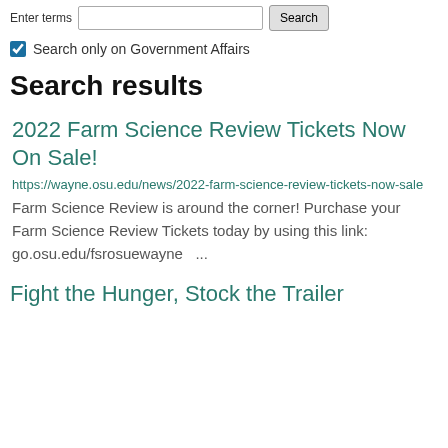Enter terms [text input] [Search button]
Search only on Government Affairs
Search results
2022 Farm Science Review Tickets Now On Sale!
https://wayne.osu.edu/news/2022-farm-science-review-tickets-now-sale
Farm Science Review is around the corner! Purchase your Farm Science Review Tickets today by using this link: go.osu.edu/fsrosuewayne  ...
Fight the Hunger, Stock the Trailer